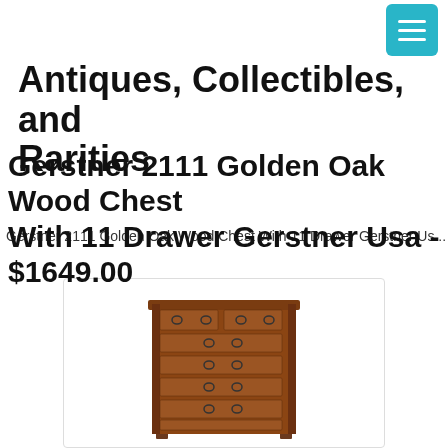Antiques, Collectibles, and Rarities
Antiques, Collectibles, and Rarities
Gerstner 2111 Golden Oak Wood Chest With 11 Drawer Gerstner Usa - $1649.00
Gerstner 2111 Golden Oak Wood Chest With 11 Drawer Gerstner Usa
[Figure (photo): Gerstner 2111 Golden Oak Wood Chest with 11 drawers, shown in a medium brown wood finish with dark metal drawer pulls, tall chest of drawers style furniture piece]